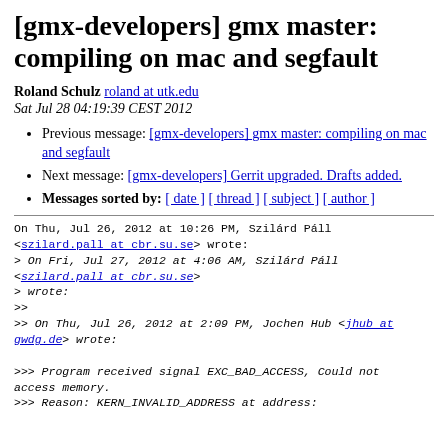[gmx-developers] gmx master: compiling on mac and segfault
Roland Schulz roland at utk.edu
Sat Jul 28 04:19:39 CEST 2012
Previous message: [gmx-developers] gmx master: compiling on mac and segfault
Next message: [gmx-developers] Gerrit upgraded. Drafts added.
Messages sorted by: [ date ] [ thread ] [ subject ] [ author ]
On Thu, Jul 26, 2012 at 10:26 PM, Szilárd Páll <szilard.pall at cbr.su.se> wrote:
> On Fri, Jul 27, 2012 at 4:06 AM, Szilárd Páll <szilard.pall at cbr.su.se>
> wrote:
>>
>> On Thu, Jul 26, 2012 at 2:09 PM, Jochen Hub <jhub at gwdg.de> wrote:

>>> Program received signal EXC_BAD_ACCESS, Could not access memory.
>>> Reason: KERN_INVALID_ADDRESS at address: